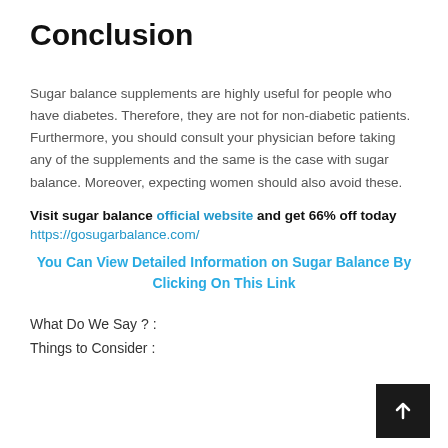Conclusion
Sugar balance supplements are highly useful for people who have diabetes. Therefore, they are not for non-diabetic patients. Furthermore, you should consult your physician before taking any of the supplements and the same is the case with sugar balance. Moreover, expecting women should also avoid these.
Visit sugar balance official website and get 66% off today
https://gosugarbalance.com/
You Can View Detailed Information on Sugar Balance By Clicking On This Link
What Do We Say ? :
Things to Consider :